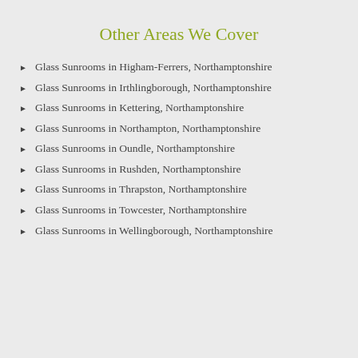Other Areas We Cover
Glass Sunrooms in Higham-Ferrers, Northamptonshire
Glass Sunrooms in Irthlingborough, Northamptonshire
Glass Sunrooms in Kettering, Northamptonshire
Glass Sunrooms in Northampton, Northamptonshire
Glass Sunrooms in Oundle, Northamptonshire
Glass Sunrooms in Rushden, Northamptonshire
Glass Sunrooms in Thrapston, Northamptonshire
Glass Sunrooms in Towcester, Northamptonshire
Glass Sunrooms in Wellingborough, Northamptonshire